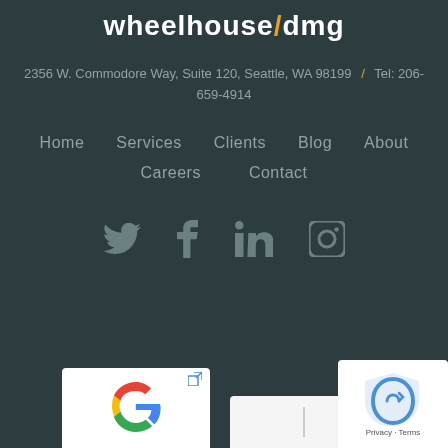wheelhouse/dmg
2356 W. Commodore Way, Suite 120, Seattle, WA 98199  /  Tel: 206-659-4914
Home
Services
Clients
Blog
About
Careers
Contact
[Figure (infographic): Social media icons: Twitter, Facebook, LinkedIn, Instagram]
[Figure (screenshot): Google review card with Google logo and external link icon]
[Figure (screenshot): reCAPTCHA widget with Privacy and Terms labels]